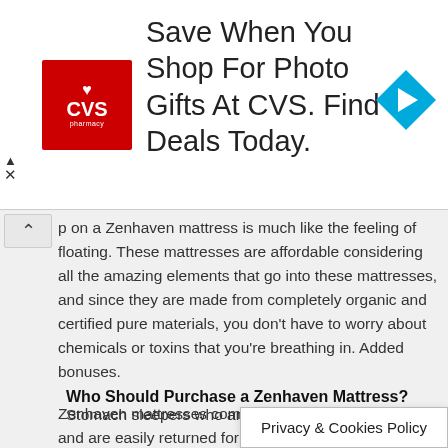[Figure (photo): CVS Pharmacy advertisement banner showing CVS logo, text 'Save When You Shop For Photo Gifts At CVS. Find Deals Today.' and a blue direction arrow icon]
p on a Zenhaven mattress is much like the feeling of floating. These mattresses are affordable considering all the amazing elements that go into these mattresses, and since they are made from completely organic and certified pure materials, you don't have to worry about chemicals or toxins that you're breathing in. Added bonuses.
Zenhaven mattresses come with 120-night sleep trials and are easily returned for a full refund if you aren't completely satisfied with the mattress within that time frame. The only issue with Zenhaven mattresses is that there is a $99 return free because Zenhaven does not restock their mattresses. They recycle or destroy all mattresses that are not up to par to customers exceptions.
Who Should Purchase a Zenhaven Mattress?
Stomach sleepers who are ... ss made of
Privacy & Cookies Policy